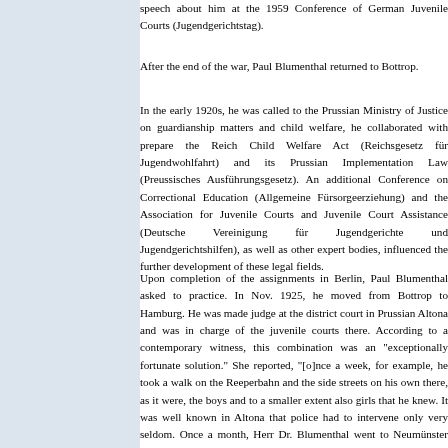speech about him at the 1959 Conference of German Juvenile Courts (Jugendgerichtstag).
After the end of the war, Paul Blumenthal returned to Bottrop.
In the early 1920s, he was called to the Prussian Ministry of Justice on guardianship matters and child welfare, he collaborated with prepare the Reich Child Welfare Act (Reichsgesetz für Jugendwohlfahrt) and its Prussian Implementation Law (Preussisches Ausführungsgesetz). An additional Conference on Correctional Education (Allgemeine Fürsorgeerziehung) and the Association for Juvenile Courts and Juvenile Court Assistance (Deutsche Vereinigung für Jugendgerichte und Jugendgerichtshilfen), as well as other expert bodies, influenced the further development of these legal fields.
Upon completion of the assignments in Berlin, Paul Blumenthal asked to practice. In Nov. 1925, he moved from Bottrop to Hamburg. He was made judge at the district court in Prussian Altona and was in charge of the juvenile courts there. According to a contemporary witness, this combination was an "exceptionally fortunate solution." She reported, "[o]nce a week, for example, he took a walk on the Reeperbahn and the side streets on his own there, as it were, the boys and to a smaller extent also girls that he knew. It was well known in Altona that police had to intervene only very seldom. Once a month, Herr Dr. Blumenthal went to Neumünster [where a facility of some sort was located], having staff show him a list of youths scheduled for discharge in weeks and months. He would then ask: 'Do you have work?' and ta